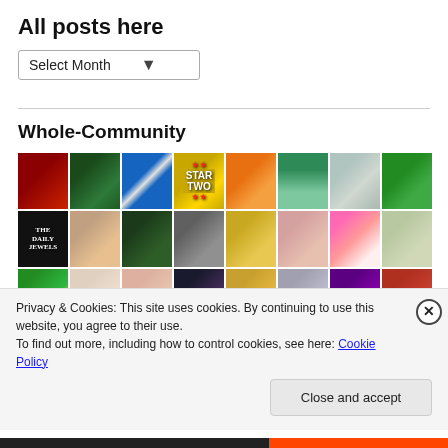All posts here
[Figure (screenshot): Dropdown select box labeled 'Select Month' with a downward arrow]
Whole-Community
[Figure (photo): Grid of 32 community member avatar thumbnails in 8 columns and 4 rows, showing portraits, icons, and decorative images]
Privacy & Cookies: This site uses cookies. By continuing to use this website, you agree to their use.
To find out more, including how to control cookies, see here: Cookie Policy
Close and accept